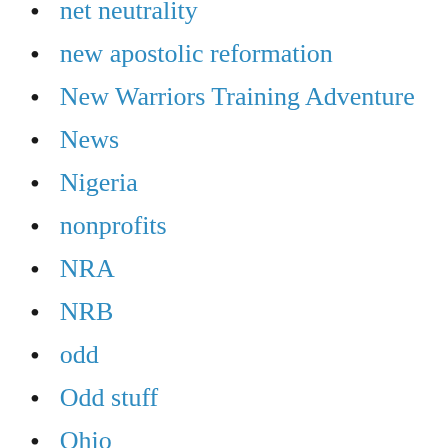net neutrality
new apostolic reformation
New Warriors Training Adventure
News
Nigeria
nonprofits
NRA
NRB
odd
Odd stuff
Ohio
Paige Patterson
Pakistan
pandas
parents rights
PATH
Patheos